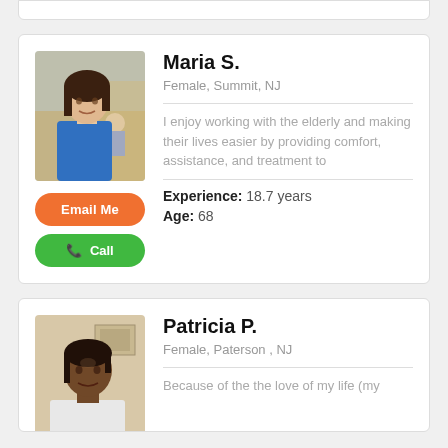[Figure (photo): Partial top of a profile card, cut off at top of page]
Maria S.
Female, Summit, NJ
I enjoy working with the elderly and making their lives easier by providing comfort, assistance, and treatment to
Experience: 18.7 years
Age: 68
[Figure (photo): Profile photo of Patricia P., a woman with dark hair against a light background]
Patricia P.
Female, Paterson , NJ
Because of the the love of my life (my